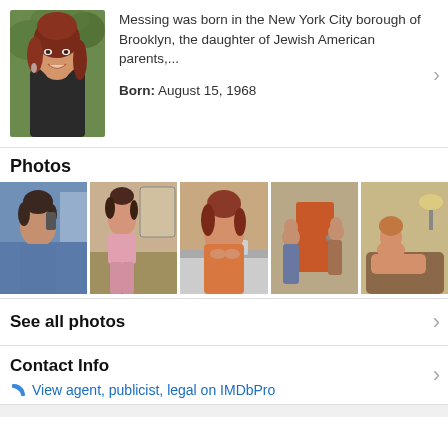[Figure (photo): Portrait photo of a woman with dark red hair, smiling, wearing a black top, with greenery in the background]
Messing was born in the New York City borough of Brooklyn, the daughter of Jewish American parents,...
Born: August 15, 1968
Photos
[Figure (photo): Woman with dark hair on a phone call, wearing a blue shirt]
[Figure (photo): Woman in pink top and pink pants standing in a room]
[Figure (photo): Woman with red hair in orange top seated at a desk]
[Figure (photo): Two people outside near an orange door]
[Figure (photo): Person reclining in a living room scene]
See all photos
Contact Info
View agent, publicist, legal on IMDbPro